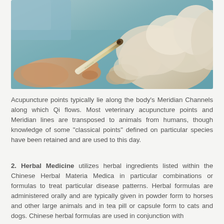[Figure (photo): A person holding a moxa stick or acupuncture tool near the paw of a fluffy white dog lying on a blue surface]
Acupuncture points typically lie along the body's Meridian Channels along which Qi flows. Most veterinary acupuncture points and Meridian lines are transposed to animals from humans, though knowledge of some "classical points" defined on particular species have been retained and are used to this day.
2. Herbal Medicine utilizes herbal ingredients listed within the Chinese Herbal Materia Medica in particular combinations or formulas to treat particular disease patterns. Herbal formulas are administered orally and are typically given in powder form to horses and other large animals and in tea pill or capsule form to cats and dogs. Chinese herbal formulas are used in conjunction with